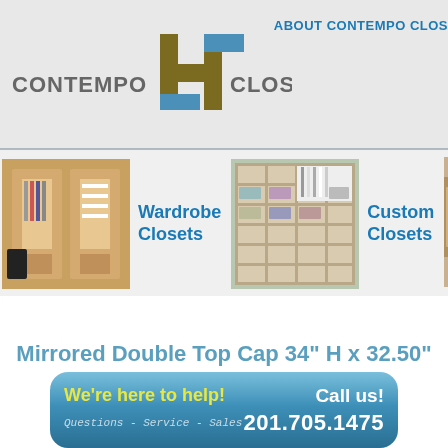[Figure (logo): Contempo Closet logo with stylized double-H icon in olive/brown and blue]
ABOUT CONTEMPO CLOS...
[Figure (photo): Thumbnail of wardrobe closet interior]
Wardrobe Closets
[Figure (photo): Thumbnail of custom closet with shelving]
Custom Closets
[Figure (photo): Partial thumbnail of third closet type]
Mirrored Double Top Cap 34" H x 32.50" W
We're here to help!   Call us!
Questions - Service - Sales   201.705.1475